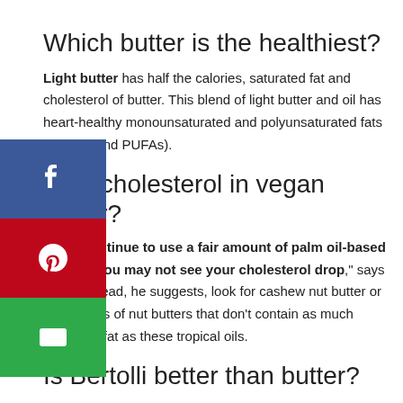Which butter is the healthiest?
Light butter has half the calories, saturated fat and cholesterol of butter. This blend of light butter and oil has heart-healthy monounsaturated and polyunsaturated fats (MUFAs and PUFAs).
here cholesterol in vegan butter?
if you continue to use a fair amount of palm oil-based t butter, you may not see your cholesterol drop," says Dr. n. Instead, he suggests, look for cashew nut butter or other types of nut butters that don't contain as much saturated fat as these tropical oils.
Is Bertolli better than butter?
Buy online. Made using our finest olive oil, Bertolli Original spread